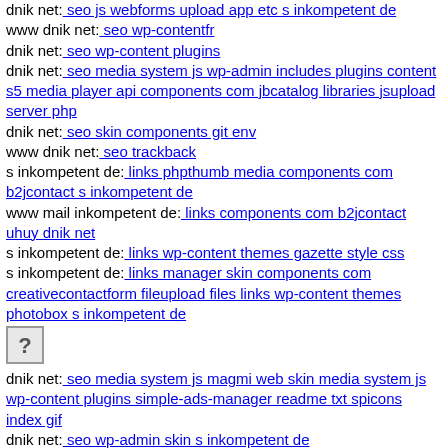dnik net: seo js webforms upload app etc s inkompetent de
www dnik net: seo wp-contentfr
dnik net: seo wp-content plugins
dnik net: seo media system js wp-admin includes plugins content s5 media player api components com jbcatalog libraries jsupload server php
dnik net: seo skin components git env
www dnik net: seo trackback
s inkompetent de: links phpthumb media components com b2jcontact s inkompetent de
www mail inkompetent de: links components com b2jcontact uhuy dnik net
s inkompetent de: links wp-content themes gazette style css
s inkompetent de: links manager skin components com creativecontactform fileupload files links wp-content themes photobox s inkompetent de
[Figure (other): Broken image icon (question mark placeholder)]
dnik net: seo media system js magmi web skin media system js wp-content plugins simple-ads-manager readme txt spicons index gif
dnik net: seo wp-admin skin s inkompetent de
dnik net: seo media system js magmi web wp-includes seo media system js wp-content plugins w3-total-cache readme txt
dnik net: seo wp-content themes twentyfourteen core components com b2jcontact uhuy s inkompetent de